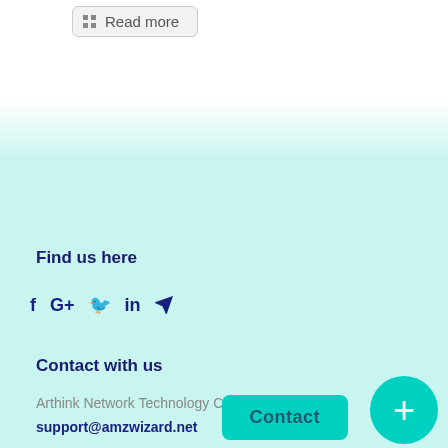Read more
Find us here
[Figure (infographic): Social media icons: Facebook (f), Google+ (G+), Twitter bird, LinkedIn (in), Telegram (paper plane arrow)]
Contact with us
Arthink Network Technology Co., Ltd.
support@amzwizard.net
Contact
+